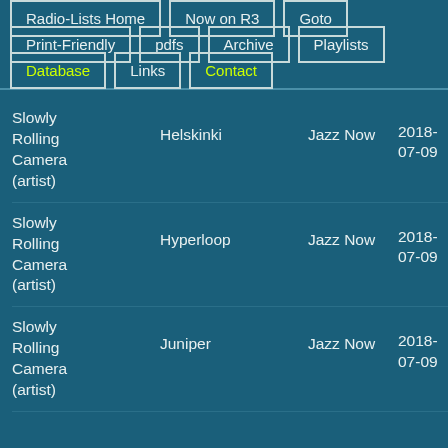Radio-Lists Home
Now on R3
Goto
Print-Friendly
pdfs
Archive
Playlists
Database
Links
Contact
| Artist | Track | Show | Date | Time |
| --- | --- | --- | --- | --- |
| Slowly Rolling Camera (artist) | Helskinki | Jazz Now | 2018-07-09 | 23: |
| Slowly Rolling Camera (artist) | Hyperloop | Jazz Now | 2018-07-09 | 23: |
| Slowly Rolling Camera (artist) | Juniper | Jazz Now | 2018-07-09 | 23: |